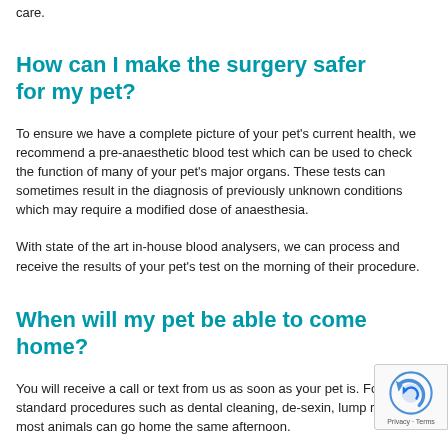care.
How can I make the surgery safer for my pet?
To ensure we have a complete picture of your pet's current health, we recommend a pre-anaesthetic blood test which can be used to check the function of many of your pet's major organs. These tests can sometimes result in the diagnosis of previously unknown conditions which may require a modified dose of anaesthesia.
With state of the art in-house blood analysers, we can process and receive the results of your pet's test on the morning of their procedure.
When will my pet be able to come home?
You will receive a call or text from us as soon as your pet is. For standard procedures such as dental cleaning, de-sexin, lump removal, most animals can go home the same afternoon.